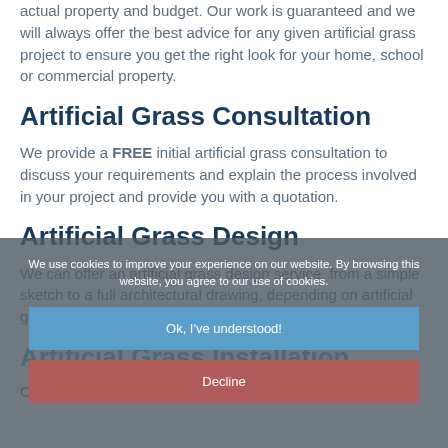actual property and budget. Our work is guaranteed and we will always offer the best advice for any given artificial grass project to ensure you get the right look for your home, school or commercial property.
Artificial Grass Consultation
We provide a FREE initial artificial grass consultation to discuss your requirements and explain the process involved in your project and provide you with a quotation.
Artificial Grass Design
We can offer an artificial grass design service, from a simple sketch to a full architectural drawing, depending on artificial grass design.
Artificial Grass Installation
Our artificial grass team work with the best products on
We use cookies to improve your experience on our website. By browsing this website, you agree to our use of cookies.
Ok, I've understood!
Decline